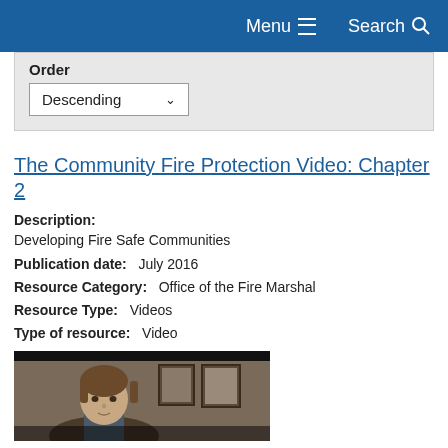Menu  Search
Order
Descending
The Community Fire Protection Video: Chapter 2
Description: Developing Fire Safe Communities
Publication date: July 2016
Resource Category: Office of the Fire Marshal
Resource Type: Videos
Type of resource: Video
[Figure (photo): Video thumbnail showing a person (appears to be a woman with brown hair) with framed pictures on a wall in the background]